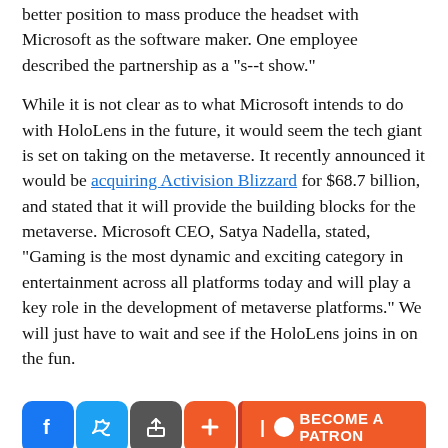better position to mass produce the headset with Microsoft as the software maker. One employee described the partnership as a "s--t show."
While it is not clear as to what Microsoft intends to do with HoloLens in the future, it would seem the tech giant is set on taking on the metaverse. It recently announced it would be acquiring Activision Blizzard for $68.7 billion, and stated that it will provide the building blocks for the metaverse. Microsoft CEO, Satya Nadella, stated, "Gaming is the most dynamic and exciting category in entertainment across all platforms today and will play a key role in the development of metaverse platforms." We will just have to wait and see if the HoloLens joins in on the fun.
[Figure (infographic): Social share buttons (Facebook, Twitter, share, plus) and a Become a Patron button]
Tags:   Microsoft ,   (nasdaq:msft)  ,   hololens  ,   mixed-reality  ,   metaverse